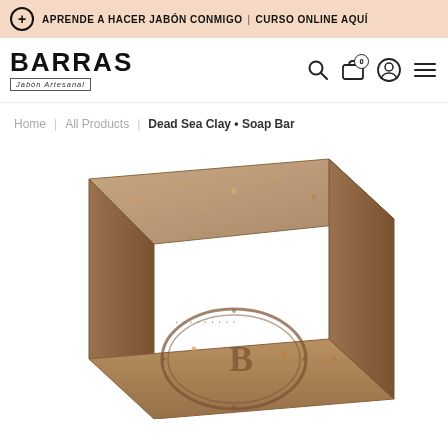+ APRENDE A HACER JABÓN CONMIGO | CURSO ONLINE AQUÍ
[Figure (logo): BARRAS Jabón Artesanal logo with brand name in bold and subtitle in a bordered box]
Home | All Products | Dead Sea Clay • Soap Bar
[Figure (photo): Close-up photograph of a rectangular brown clay soap bar with an embossed oval logo stamp on the front face, showing a textured surface with natural speckles]